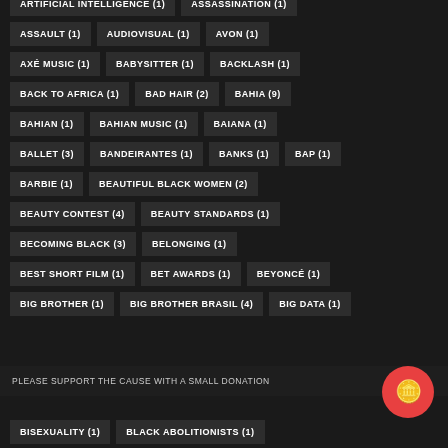ARTIFICIAL INTELLIGENCE (1)
ASSASSINATION (1)
ASSAULT (1)
AUDIOVISUAL (1)
AVON (1)
AXÉ MUSIC (1)
BABYSITTER (1)
BACKLASH (1)
BACK TO AFRICA (1)
BAD HAIR (2)
BAHIA (9)
BAHIAN (1)
BAHIAN MUSIC (1)
BAIANA (1)
BALLET (3)
BANDEIRANTES (1)
BANKS (1)
BAP (1)
BARBIE (1)
BEAUTIFUL BLACK WOMEN (2)
BEAUTY CONTEST (4)
BEAUTY STANDARDS (1)
BECOMING BLACK (3)
BELONGING (1)
BEST SHORT FILM (1)
BET AWARDS (1)
BEYONCÉ (1)
BIG BROTHER (1)
BIG BROTHER BRASIL (4)
BIG DATA (1)
PLEASE SUPPORT THE CAUSE WITH A SMALL DONATION
BISEXUALITY (1)
BLACK ABOLITIONISTS (1)